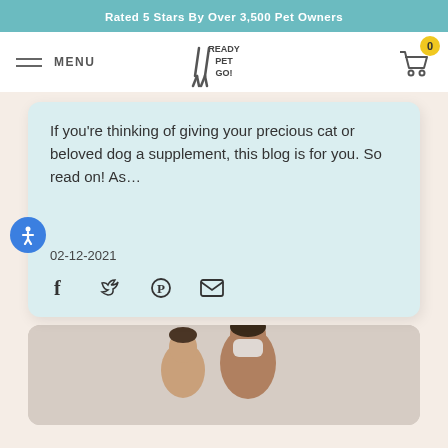Rated 5 Stars By Over 3,500 Pet Owners
[Figure (logo): Ready Pet Go! logo with navigation menu and cart icon showing 0 items]
If you're thinking of giving your precious cat or beloved dog a supplement, this blog is for you. So read on! As…
02-12-2021
[Figure (infographic): Social sharing icons: Facebook, Twitter, Pinterest, Email]
[Figure (photo): Photo of a couple, man wearing a face mask, partially visible at bottom of page]